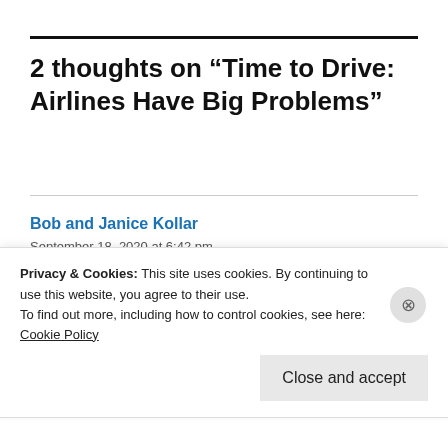2 thoughts on “Time to Drive: Airlines Have Big Problems”
Bob and Janice Kollar
September 18, 2020 at 6:42 pm
Excellent article and timely too
Privacy & Cookies: This site uses cookies. By continuing to use this website, you agree to their use.
To find out more, including how to control cookies, see here:
Cookie Policy
Close and accept